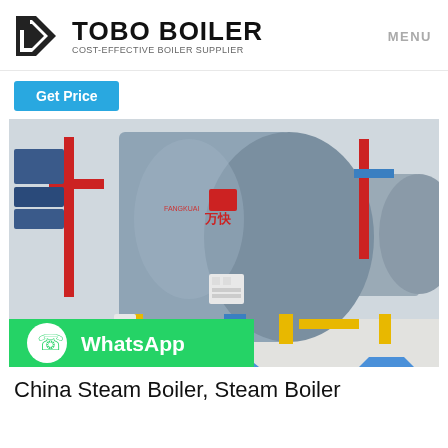[Figure (logo): TOBO BOILER logo with geometric icon and tagline COST-EFFECTIVE BOILER SUPPLIER]
MENU
Get Price
[Figure (photo): Industrial boiler room with multiple large cylindrical steam boilers (FANGKUAI brand, with Chinese characters 万快), featuring red, yellow, and blue piping. WhatsApp contact overlay at bottom.]
China Steam Boiler, Steam Boiler